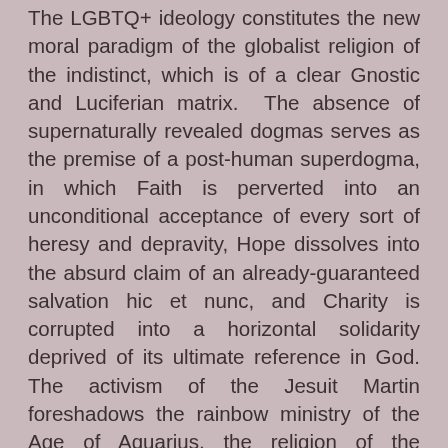The LGBTQ+ ideology constitutes the new moral paradigm of the globalist religion of the indistinct, which is of a clear Gnostic and Luciferian matrix.  The absence of supernaturally revealed dogmas serves as the premise of a post-human superdogma, in which Faith is perverted into an unconditional acceptance of every sort of heresy and depravity, Hope dissolves into the absurd claim of an already-guaranteed salvation hic et nunc, and Charity is corrupted into a horizontal solidarity deprived of its ultimate reference in God. The activism of the Jesuit Martin foreshadows the rainbow ministry of the Age of Aquarius, the religion of the Antichrist, and the worship of idols and demons, beginning with the filthy Pachamama.